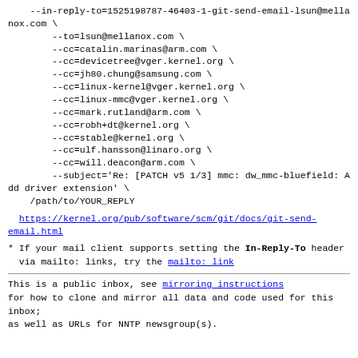--in-reply-to=1525198787-46403-1-git-send-email-lsun@mellanox.com \
        --to=lsun@mellanox.com \
        --cc=catalin.marinas@arm.com \
        --cc=devicetree@vger.kernel.org \
        --cc=jh80.chung@samsung.com \
        --cc=linux-kernel@vger.kernel.org \
        --cc=linux-mmc@vger.kernel.org \
        --cc=mark.rutland@arm.com \
        --cc=robh+dt@kernel.org \
        --cc=stable@kernel.org \
        --cc=ulf.hansson@linaro.org \
        --cc=will.deacon@arm.com \
        --subject='Re: [PATCH v5 1/3] mmc: dw_mmc-bluefield: Add driver extension' \
    /path/to/YOUR_REPLY
https://kernel.org/pub/software/scm/git/docs/git-send-email.html
* If your mail client supports setting the In-Reply-To header
  via mailto: links, try the mailto: link
This is a public inbox, see mirroring instructions
for how to clone and mirror all data and code used for this inbox;
as well as URLs for NNTP newsgroup(s).